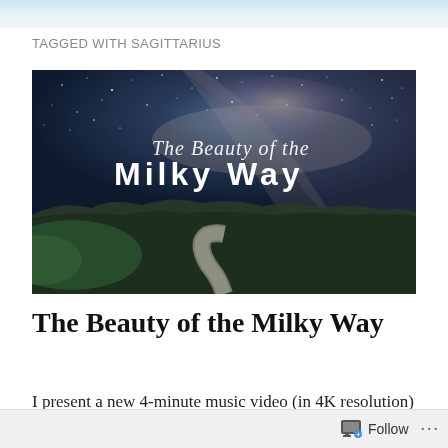TAGGED WITH SAGITTARIUS
[Figure (photo): Night sky photo showing the Milky Way galaxy arc over a landscape with rolling hills and a winding road in the foreground. Overlaid text reads 'The Beauty of the Milky Way' in white serif/display font.]
The Beauty of the Milky Way
I present a new 4-minute music video (in 4K resolution)
Follow